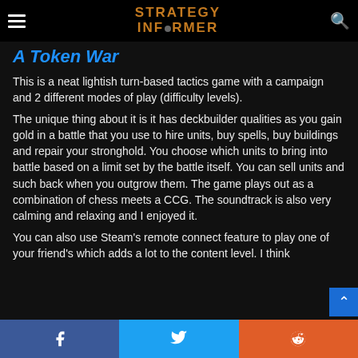Strategy Informer
A Token War
This is a neat lightish turn-based tactics game with a campaign and 2 different modes of play (difficulty levels).
The unique thing about it is it has deckbuilder qualities as you gain gold in a battle that you use to hire units, buy spells, buy buildings and repair your stronghold. You choose which units to bring into battle based on a limit set by the battle itself. You can sell units and such back when you outgrow them. The game plays out as a combination of chess meets a CCG. The soundtrack is also very calming and relaxing and I enjoyed it.
You can also use Steam's remote connect feature to play one of your friend's which adds a lot to the content level. I think
Facebook  Twitter  Reddit